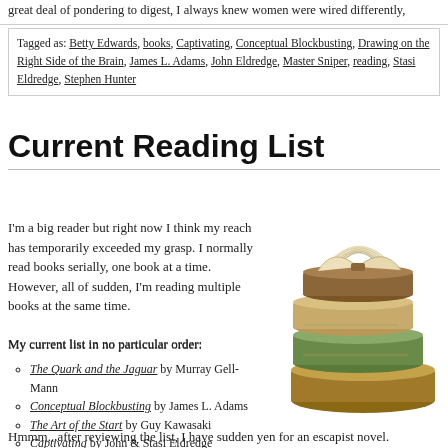great deal of pondering to digest, I always knew women were wired differently,
Tagged as: Betty Edwards, books, Captivating, Conceptual Blockbusting, Drawing on the Right Side of the Brain, James L. Adams, John Eldredge, Master Sniper, reading, Stasi Eldredge, Stephen Hunter
Current Reading List
I'm a big reader but right now I think my reach has temporarily exceeded my grasp. I normally read books serially, one book at a time. However, all of sudden, I'm reading multiple books at the same time.
[Figure (illustration): Stack of books illustration]
My current list in no particular order:
The Quark and the Jaguar by Murray Gell-Mann
Conceptual Blockbusting by James L. Adams
The Art of the Start by Guy Kawasaki
Captivating by John & Stasi Eldredge
Moving Toward Stillness by Dave Lowry
The Way of Sanchin Kata by Kris Wilder
Drawing on the Right Side of the Brain (1st edition) by Betty Edwards
Hmmm...after reviewing the list, I have sudden yen for an escapist novel.